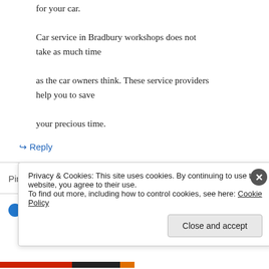for your car. Car service in Bradbury workshops does not take as much time as the car owners think. These service providers help you to save your precious time.
↪ Reply
Pingback: Regarder Taken 3 2014 En Streaming
Privacy & Cookies: This site uses cookies. By continuing to use this website, you agree to their use.
To find out more, including how to control cookies, see here: Cookie Policy
Close and accept